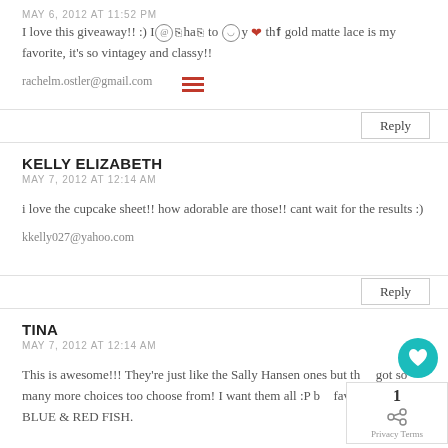MAY 6, 2012 AT 11:52 PM
I love this giveaway!! :) I have to my that the gold matte lace is my favorite, it's so vintagey and classy!!
rachelm.ostler@gmail.com
Reply
KELLY ELIZABETH
MAY 7, 2012 AT 12:14 AM
i love the cupcake sheet!! how adorable are those!! cant wait for the results :)
kkelly027@yahoo.com
Reply
TINA
MAY 7, 2012 AT 12:14 AM
This is awesome!!! They're just like the Sally Hansen ones but they got so many more choices too choose from! I want them all :P but fave has to be: BLUE & RED FISH.